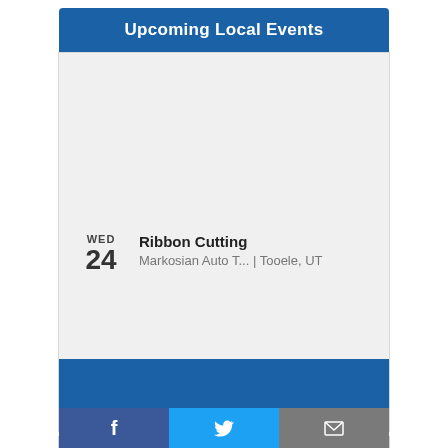Upcoming Local Events
WED
24
Ribbon Cutting
Markosian Auto T... | Tooele, UT
See all events  +Add your event
[Figure (screenshot): Social media share buttons: Facebook (blue), Twitter (light blue), Email (grey)]